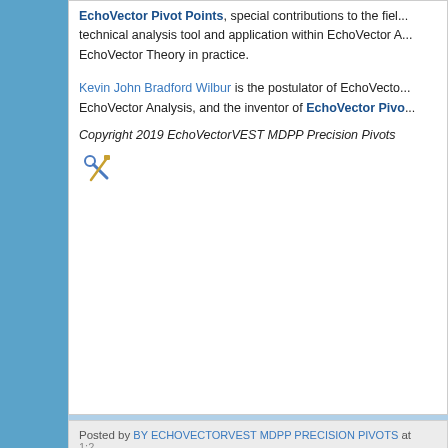EchoVector Pivot Points, special contributions to the field as a technical analysis tool and application within EchoVector A... EchoVector Theory in practice.
Kevin John Bradford Wilbur is the postulator of EchoVecto... EchoVector Analysis, and the inventor of EchoVector Pivo...
Copyright 2019 EchoVectorVEST MDPP Precision Pivots
[Figure (other): Tools/settings icon (wrench and screwdriver crossed)]
Posted by BY ECHOVECTORVEST MDPP PRECISION PIVOTS at 1:2...
PROTECTVEST AND ADVANCEVEST BY ECHOVECTORV... PIVOTS
[Figure (photo): Dark blue chart/graph image showing EchoVector lines on a dark background]
BY ECHOVECTORVEST MDPP PRECISION...
Providing Forecasting and Trade Management Technology, Analysis, a... Than Doubling the Portfolio Position Value of The Major Market (Dow 3... 2007 to Early 2009!... More Than Doubling Again from Early 2009 throu... Again in 2011!...Then More Than Tripling Again in 2012!...